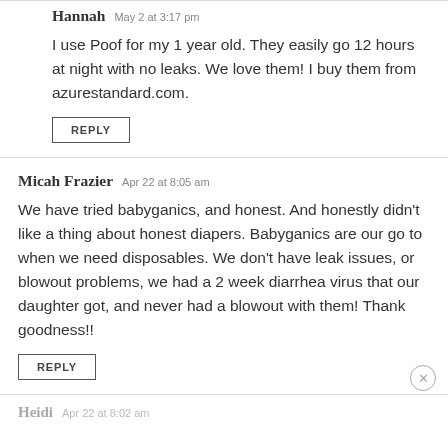Hannah May 2 at 3:17 pm
I use Poof for my 1 year old. They easily go 12 hours at night with no leaks. We love them! I buy them from azurestandard.com.
REPLY
Micah Frazier Apr 22 at 8:05 am
We have tried babyganics, and honest. And honestly didn't like a thing about honest diapers. Babyganics are our go to when we need disposables. We don't have leak issues, or blowout problems, we had a 2 week diarrhea virus that our daughter got, and never had a blowout with them! Thank goodness!!
REPLY
Heidi Apr 22 at 8:02 am